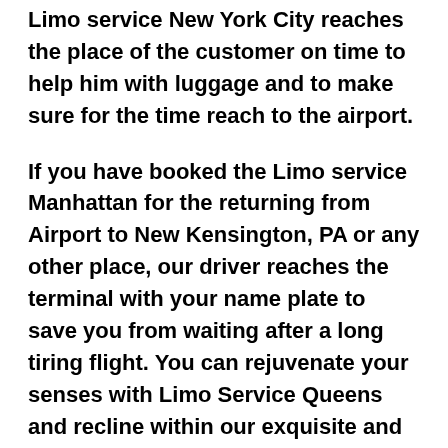Limo service New York City reaches the place of the customer on time to help him with luggage and to make sure for the time reach to the airport.
If you have booked the Limo service Manhattan for the returning from Airport to New Kensington, PA or any other place, our driver reaches the terminal with your name plate to save you from waiting after a long tiring flight. You can rejuvenate your senses with Limo Service Queens and recline within our exquisite and alluring ambiance of the car after the day-long hectic trip.
If you are coming to New Kensington, PA to attend the corporate meetings, conference, exhibition or business transactions, we at Limo service Bronx